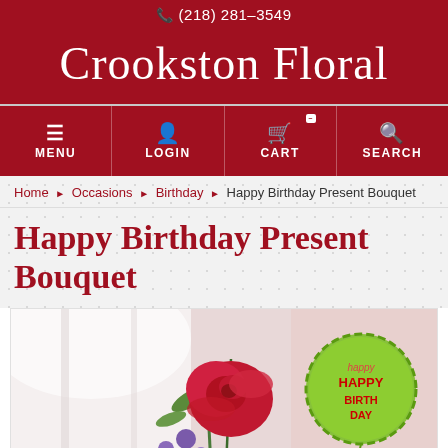(218) 281-3549
Crookston Floral
[Figure (screenshot): Navigation bar with MENU, LOGIN, CART, SEARCH icons]
Home > Occasions > Birthday > Happy Birthday Present Bouquet
Happy Birthday Present Bouquet
[Figure (photo): Photo of Happy Birthday Present Bouquet with a 'Happy Happy Birthday' balloon and colorful flowers]